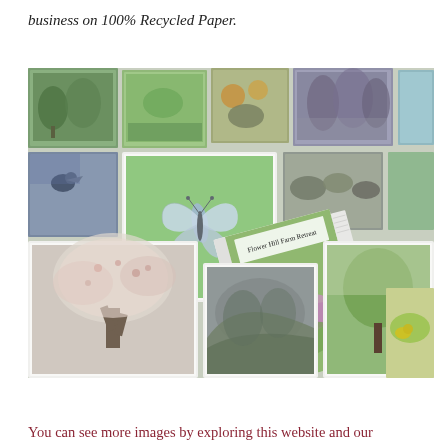business on 100% Recycled Paper.
[Figure (photo): A spread of nature photography greeting cards laid out on a white surface, showing images of butterflies, trees, flowers, birds, and landscapes. In the center is a small booklet titled 'Flower Hill Farm Retreat' with a garden scene on the cover.]
You can see more images by exploring this website and our